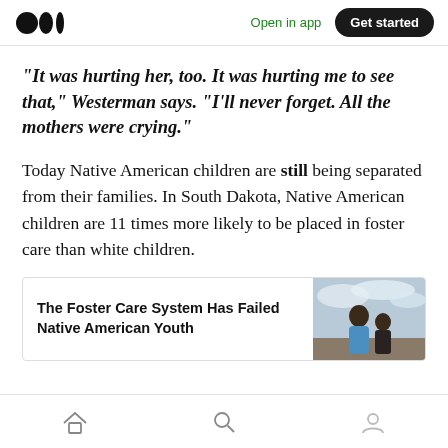Open in app | Get started
“It was hurting her, too. It was hurting me to see that,” Westerman says. “I’ll never forget. All the mothers were crying.”
Today Native American children are still being separated from their families. In South Dakota, Native American children are 11 times more likely to be placed in foster care than white children.
[Figure (screenshot): Article card linking to 'The Foster Care System Has Failed Native American Youth' with a photo of two Native American children outdoors under a cloudy sky]
Home | Search | Profile